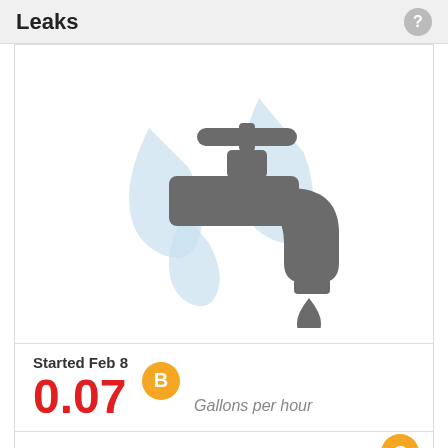Leaks
[Figure (illustration): Gray faucet/tap icon with water drops dripping, overlaid on light blue water drop shapes in the background]
Started Feb 8
0.07
Gallons per hour